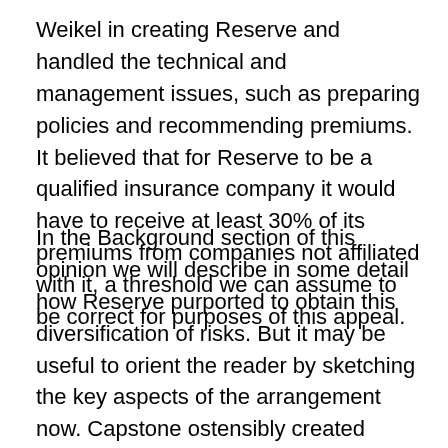Weikel in creating Reserve and handled the technical and management issues, such as preparing policies and recommending premiums. It believed that for Reserve to be a qualified insurance company it would have to receive at least 30% of its premiums from companies not affiliated with it, a threshold we can assume to be correct for purposes of this appeal.
In the Background section of this opinion we will describe in some detail how Reserve purported to obtain this diversification of risks. But it may be useful to orient the reader by sketching the key aspects of the arrangement now. Capstone ostensibly created diversification of risks in two ways, which together accounted for about 30% of the "premiums" received by Reserve. First, it arranged for 50-some captives under its management to, in essence, be liable on reinsurance policies issued to each other. In a